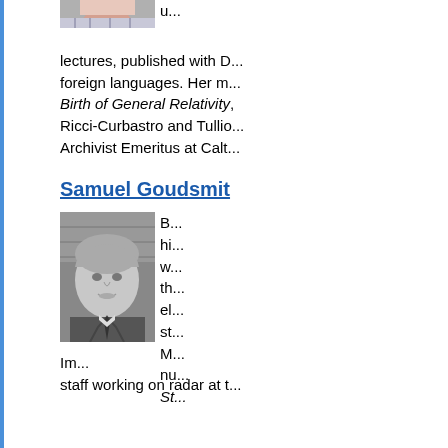[Figure (photo): Partial photo of a person visible at top, cropped]
u... lectures, published with D... foreign languages. Her m... Birth of General Relativity, ... Ricci-Curbastro and Tullio... Archivist Emeritus at Calt...
Samuel Goudsmit
[Figure (photo): Black and white portrait photograph of Samuel Goudsmit, an older man with grey hair, wearing a suit and tie, smiling slightly]
B... hi... w... th... el... st... M... nu... St...
Im... staff working on radar at t...